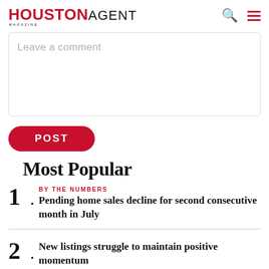HOUSTON AGENT MAGAZINE
Leave a comment
POST
Most Popular
BY THE NUMBERS
Pending home sales decline for second consecutive month in July
New listings struggle to maintain positive momentum